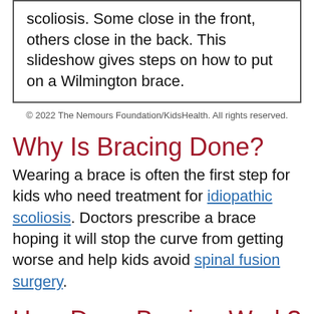scoliosis. Some close in the front, others close in the back. This slideshow gives steps on how to put on a Wilmington brace.
© 2022 The Nemours Foundation/KidsHealth. All rights reserved.
Why Is Bracing Done?
Wearing a brace is often the first step for kids who need treatment for idiopathic scoliosis. Doctors prescribe a brace hoping it will stop the curve from getting worse and help kids avoid spinal fusion surgery.
How Does Bracing Work?
For bracing to work, a child must still be growing. Before prescribing a brace, orthopedists will